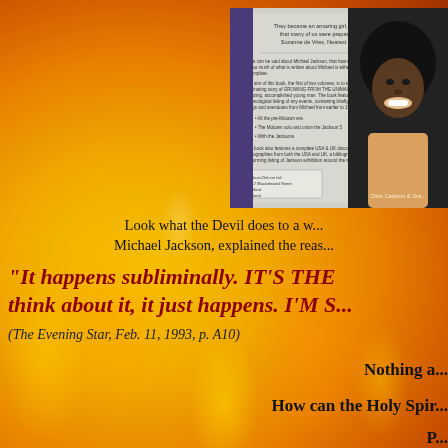[Figure (photo): Back cover of book 'The Early Years: The Cadmon & Cadmon' showing young Michael Jackson smiling and text about the book content, with barcode and publisher info (Amitrust-OnLine Ltd, 16-17 Muckelnaied Street, Wanford, England)]
Look what the Devil does to a w... Michael Jackson, explained the reas...
“It happens subliminally. IT'S THE ... think about it, it just happens. I'M S...
(The Evening Star, Feb. 11, 1993, p. A10)
Nothing a...
How can the Holy Spir...
P...